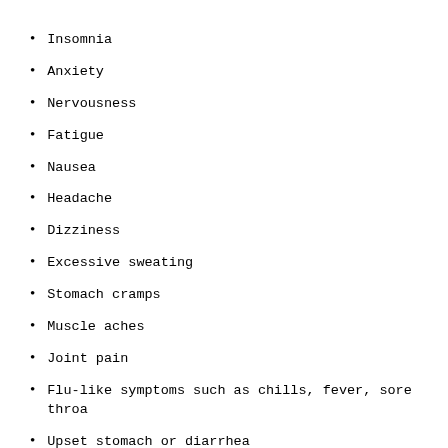Insomnia
Anxiety
Nervousness
Fatigue
Nausea
Headache
Dizziness
Excessive sweating
Stomach cramps
Muscle aches
Joint pain
Flu-like symptoms such as chills, fever, sore throat
Upset stomach or diarrhea